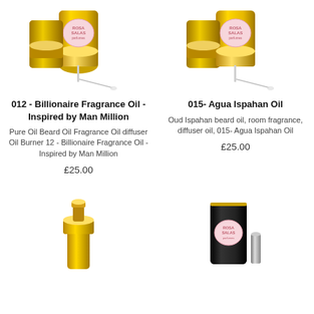[Figure (photo): Gold dropper bottle with Rosa Salas perfumes label - product 012]
[Figure (photo): Gold dropper bottle with Rosa Salas perfumes label - product 015]
012 - Billionaire Fragrance Oil - Inspired by Man Million
015- Agua Ispahan Oil
Pure Oil Beard Oil Fragrance Oil diffuser Oil Burner 12 - Billionaire Fragrance Oil - Inspired by Man Million
Oud Ispahan beard oil, room fragrance, diffuser oil, 015- Agua Ispahan Oil
£25.00
£25.00
[Figure (photo): Gold bottle top of a fragrance oil product]
[Figure (photo): Black cylindrical bottle with Rosa Salas perfumes label]